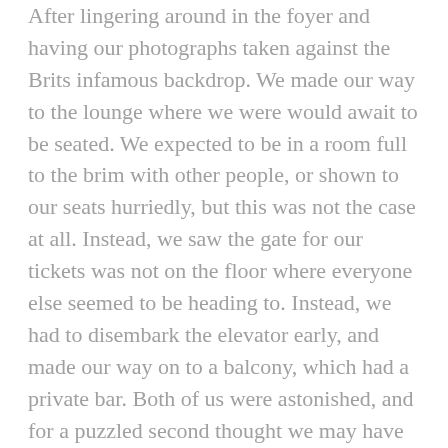After lingering around in the foyer and having our photographs taken against the Brits infamous backdrop. We made our way to the lounge where we were would await to be seated. We expected to be in a room full to the brim with other people, or shown to our seats hurriedly, but this was not the case at all. Instead, we saw the gate for our tickets was not on the floor where everyone else seemed to be heading to. Instead, we had to disembark the elevator early, and made our way on to a balcony, which had a private bar. Both of us were astonished, and for a puzzled second thought we may have stumbled into the wrong section, as the crowds continued to make their way up on the escalators, but as kind staff assured us we were in the right area and we settled in, to our amazement for an hour or so we had our own luxury area. The bar was huge, and the balcony overlooked the whole foyer of the O2. We stood with our drinks, just looking at eachother in disbelief that this was real. It felt so much like a dream.